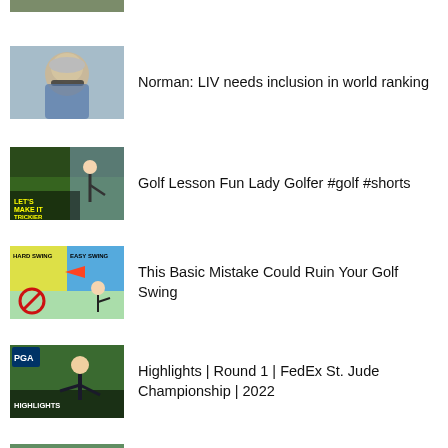[Figure (photo): Partial golf thumbnail at top, cropped]
Norman: LIV needs inclusion in world ranking
Golf Lesson Fun Lady Golfer #golf #shorts
This Basic Mistake Could Ruin Your Golf Swing
Highlights | Round 1 | FedEx St. Jude Championship | 2022
How Will Zalatoris' new caddie helped him reach the top of the FedEx Cup standings